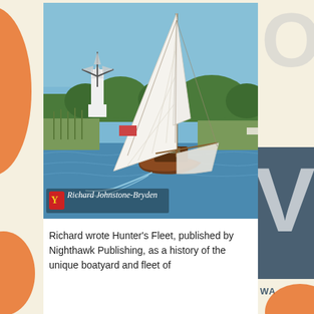[Figure (photo): A classic wooden sailing boat with large white sails on a river or broad, with a traditional windmill visible in the background among trees. The boat is sailing towards the viewer with wake visible. A watermark/signature reading 'Richard Johnstone-Bryden' with a decorative logo appears in the lower left of the photo.]
Richard wrote Hunter's Fleet, published by Nighthawk Publishing, as a history of the unique boatyard and fleet of